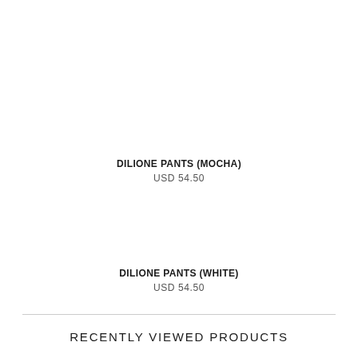DILIONE PANTS (MOCHA)
USD 54.50
DILIONE PANTS (WHITE)
USD 54.50
RECENTLY VIEWED PRODUCTS